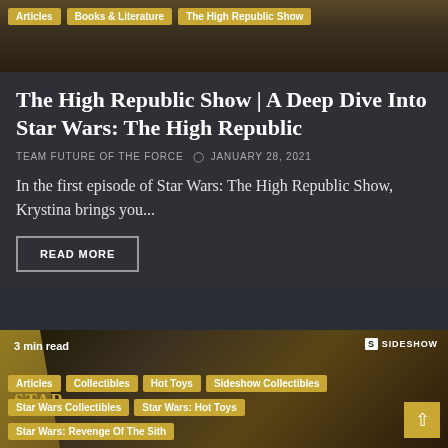[Figure (photo): Top image area with category tag pills: Articles, Books & Literature, The High Republic Show]
The High Republic Show | A Deep Dive Into Star Wars: The High Republic
TEAM FUTURE OF THE FORCE   © JANUARY 28, 2021
In the first episode of Star Wars: The High Republic Show, Krystina brings you...
READ MORE
[Figure (photo): Bottom image showing Star Wars Episode III promotional image with a Clone Trooper, Sideshow Collectibles branding, '3 min read' badge, STAR WARS text, and category tags: Articles, Collectibles, Hot Toys, Sideshow Collectibles, Star Wars Collectibles, Star Wars: Hot Toys, Star Wars: Revenge Of The Sith]